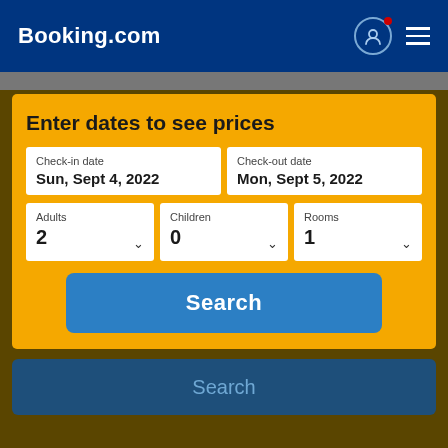Booking.com
Enter dates to see prices
Check-in date: Sun, Sept 4, 2022
Check-out date: Mon, Sept 5, 2022
Adults: 2
Children: 0
Rooms: 1
Search
Search